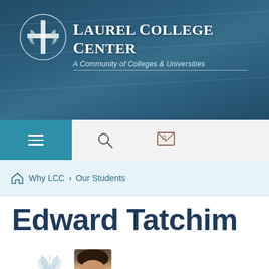[Figure (logo): Laurel College Center logo with circular emblem containing a cross and laurel branch, with white text on dark blue background]
LAUREL COLLEGE CENTER
A Community of Colleges & Universities
[Figure (screenshot): Navigation toolbar with hamburger menu on teal left side, search icon and mail/contact icon on light gray right side]
🏠 Why LCC Our Students
Edward Tatchim
[Figure (photo): Partial photo showing bottom of laurel leaf graphic and top of a person's head (curly hair), Edward Tatchim]